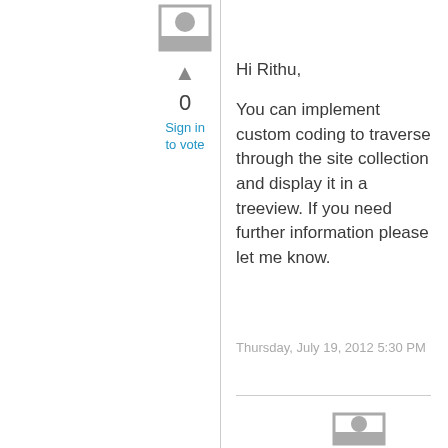[Figure (illustration): User avatar icon (grey square with person silhouette) at top left of vote column]
▲
0
Sign in to vote
Hi Rithu,
You can implement custom coding to traverse through the site collection and display it in a treeview. If you need further information please let me know.
Thursday, July 19, 2012 5:30 PM
[Figure (illustration): User avatar icon (grey square with person silhouette) at bottom]